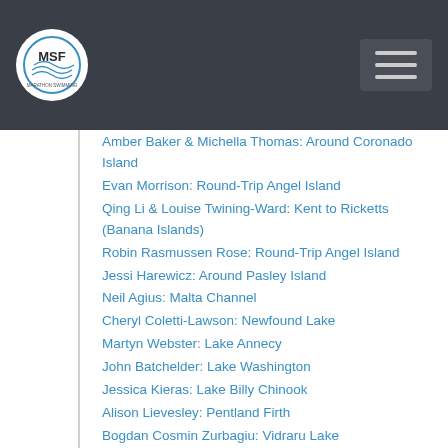MSF Marathon Swimming Federation
Amber Baker & Michella Thomas: Around Coronado Island
Evan Morrison: Round-Trip Angel Island
Qing Li & Louise Twining-Ward: Kent to Ricketts (Banana Islands)
Robin Rasmussen Rose: Round-Trip Angel Island
Jessi Harewicz: Around Pasley Island
Neil Agius: Malta Channel
Cheryl Coletti-Lawson: Newfound Lake
Martyn Webster: Lake Annecy
John Batchelder: Lake Washington
Jessica Kieras: Lake Billy Chinook
Alison Lievesley: Pentland Firth
Bogdan Cosmin Zurbagiu: Vidraru Lake
Martyn Webster: Lake Zurich
Van Cornwell: Tomales Bay, RT Hog Island
Scott Connelly: Lake James
Abigail Bergman: Malibu to Marina del Rey